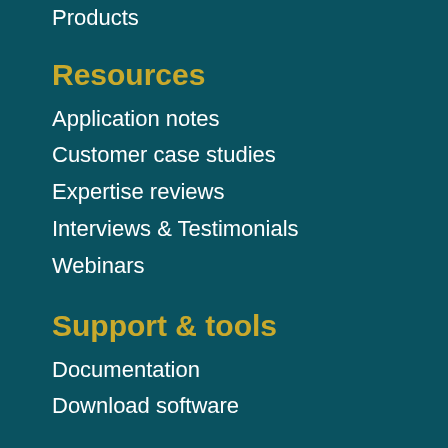Products
Resources
Application notes
Customer case studies
Expertise reviews
Interviews & Testimonials
Webinars
Support & tools
Documentation
Download software
Company
About us